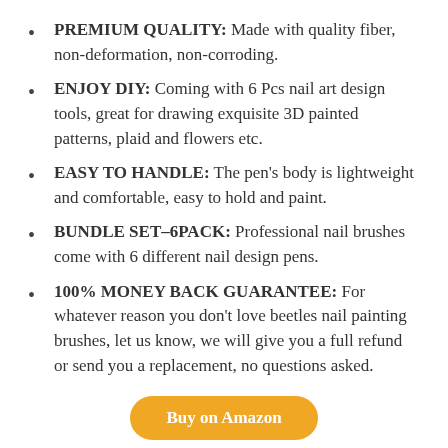PREMIUM QUALITY: Made with quality fiber, non-deformation, non-corroding.
ENJOY DIY: Coming with 6 Pcs nail art design tools, great for drawing exquisite 3D painted patterns, plaid and flowers etc.
EASY TO HANDLE: The pen’s body is lightweight and comfortable, easy to hold and paint.
BUNDLE SET–6PACK: Professional nail brushes come with 6 different nail design pens.
100% MONEY BACK GUARANTEE: For whatever reason you don’t love beetles nail painting brushes, let us know, we will give you a full refund or send you a replacement, no questions asked.
Buy on Amazon